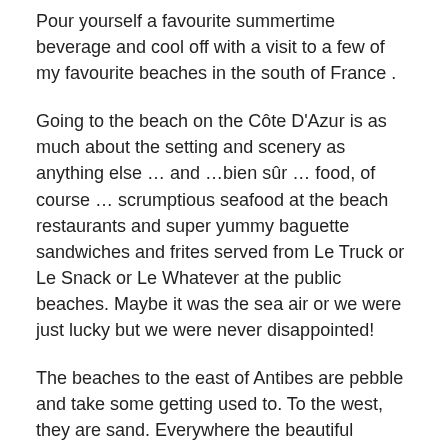Pour yourself a favourite summertime beverage and cool off with a visit to a few of my favourite beaches in the south of France .
Going to the beach on the Côte D'Azur is as much about the setting and scenery as anything else … and …bien sûr … food, of course … scrumptious seafood at the beach restaurants and super yummy baguette sandwiches and frites served from Le Truck or Le Snack or Le Whatever at the public beaches. Maybe it was the sea air or we were just lucky but we were never disappointed!
The beaches to the east of Antibes are pebble and take some getting used to. To the west, they are sand. Everywhere the beautiful Mediterranean cools you down. Although the beaches in my photos may look busy, there